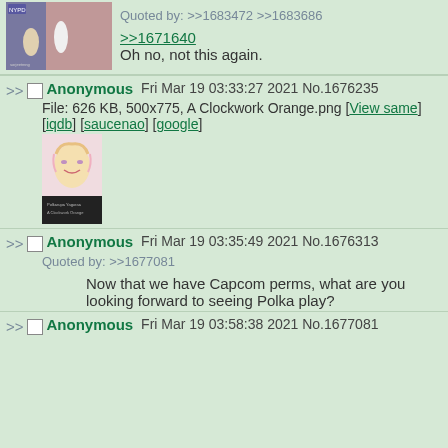[Figure (screenshot): Top partial post showing anime image and reply with quoted-by links and message '>>1671640 Oh no, not this again.']
>> Anonymous Fri Mar 19 03:33:27 2021 No.1676235
File: 626 KB, 500x775, A Clockwork Orange.png [View same] [iqdb] [saucenao] [google]
[Figure (illustration): Anime girl with blonde/pink hair holding a book styled as A Clockwork Orange cover with dark bottom section]
>> Anonymous Fri Mar 19 03:35:49 2021 No.1676313
Quoted by: >>1677081
Now that we have Capcom perms, what are you looking forward to seeing Polka play?
>> Anonymous Fri Mar 19 03:58:38 2021 No.1677081